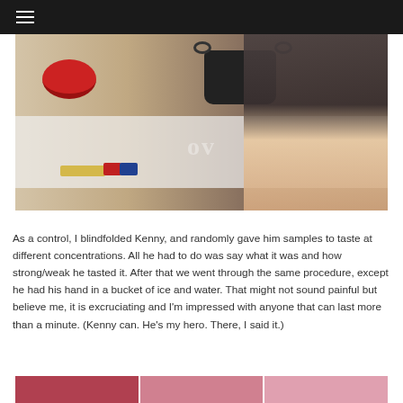≡
[Figure (photo): Photo of a person sitting at a glass table with a red bowl, a black pot, markers/erasers, and a syringe-like tube on the table surface. The person is wearing a dark shirt and has arms crossed, facing downward.]
As a control, I blindfolded Kenny, and randomly gave him samples to taste at different concentrations. All he had to do was say what it was and how strong/weak he tasted it. After that we went through the same procedure, except he had his hand in a bucket of ice and water. That might not sound painful but believe me, it is excruciating and I'm impressed with anyone that can last more than a minute. (Kenny can. He's my hero. There, I said it.)
[Figure (photo): Partial view of a second photo at the bottom of the page, showing three segments with reddish/pink tones.]